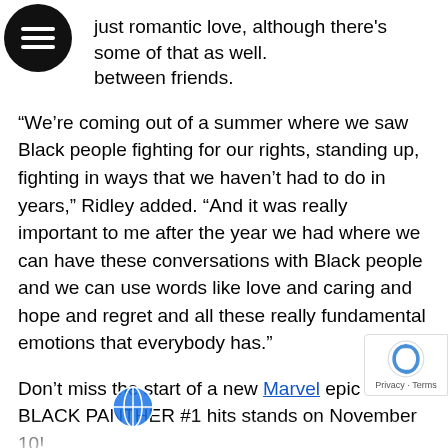[Figure (other): Black circular hamburger menu icon in top-left corner]
just romantic love, although there's some of that as well. between friends.
“We’re coming out of a summer where we saw Black people fighting for our rights, standing up, fighting in ways that we haven’t had to do in years,” Ridley added. “And it was really important to me after the year we had where we can have these conversations with Black people and we can use words like love and caring and hope and regret and all these really fundamental emotions that everybody has.”
Don’t miss the start of a new Marvel epic when BLACK PANTHER #1 hits stands on November 10!
About Marvel Entertainment
Marvel Entertainment, LLC, a wholly-owned subsidiary of The Walt Disney Company, is one of the world’s most prominent character-based entertainment companies, built on a proven
[Figure (logo): Google reCAPTCHA badge in bottom-right corner]
[Figure (logo): Globe/language icon overlay in bottom area]